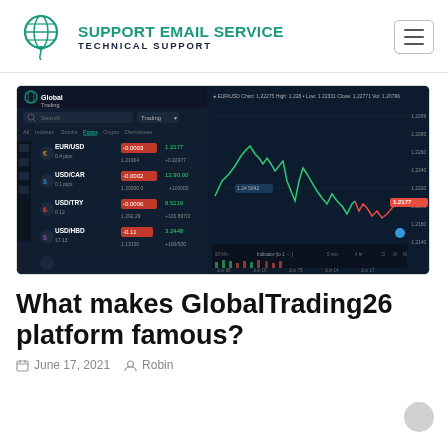SUPPORT EMAIL SERVICE TECHNICAL SUPPORT
[Figure (screenshot): Screenshot of GlobalTrading26 trading platform showing forex pairs (EUR/USD, USD/CAR, USD/TRY, USD/HBD) with a candlestick chart in dark mode]
What makes GlobalTrading26 platform famous?
June 17, 2021   Robin